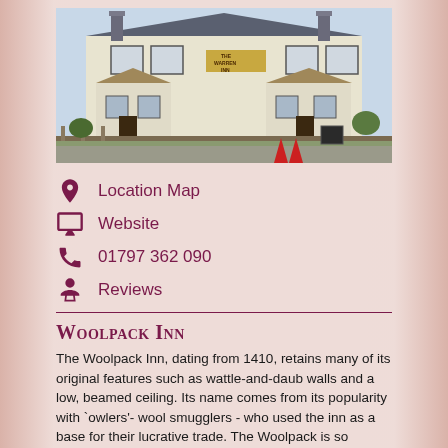[Figure (photo): Exterior photograph of a pub building (The Warren Inn), a white-painted two-storey building with grey roof, wooden fence in front, and pub signage visible on the facade.]
Location Map
Website
01797 362 090
Reviews
Woolpack Inn
The Woolpack Inn, dating from 1410, retains many of its original features such as wattle-and-daub walls and a low, beamed ceiling. Its name comes from its popularity with `owlers'- wool smugglers - who used the inn as a base for their lucrative trade. The Woolpack is so perfectly old…